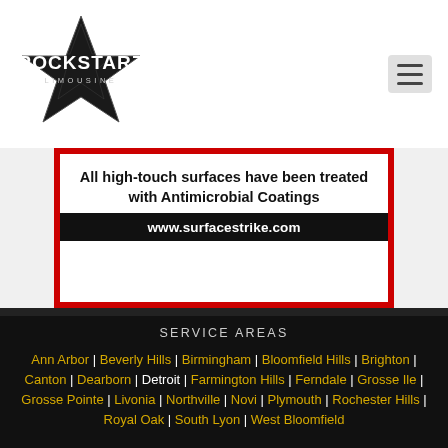[Figure (logo): Rockstarz Limousine logo with star graphic and text]
[Figure (infographic): All high-touch surfaces have been treated with Antimicrobial Coatings — www.surfacestrike.com]
SERVICE AREAS
Ann Arbor | Beverly Hills | Birmingham | Bloomfield Hills | Brighton | Canton | Dearborn | Detroit | Farmington Hills | Ferndale | Grosse Ile | Grosse Pointe | Livonia | Northville | Novi | Plymouth | Rochester Hills | Royal Oak | South Lyon | West Bloomfield